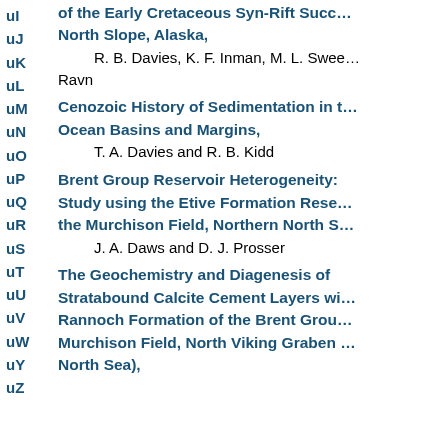of the Early Cretaceous Syn-Rift Succession, North Slope, Alaska, R. B. Davies, K. F. Inman, M. L. Swee... Ravn
Cenozoic History of Sedimentation in the Ocean Basins and Margins, T. A. Davies and R. B. Kidd
Brent Group Reservoir Heterogeneity: Study using the Etive Formation Reservoir of the Murchison Field, Northern North Se... J. A. Daws and D. J. Prosser
The Geochemistry and Diagenesis of Stratabound Calcite Cement Layers with Rannoch Formation of the Brent Group, Murchison Field, North Viking Graben ... North Sea),